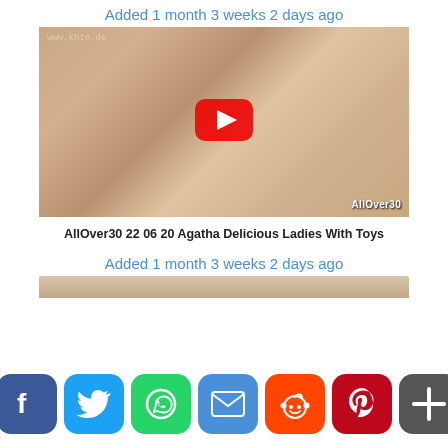Added 1 month 3 weeks 2 days ago
[Figure (photo): Video thumbnail showing adult content with play button overlay and AllOver30 watermark]
AllOver30 22 06 20 Agatha Delicious Ladies With Toys
Added 1 month 3 weeks 2 days ago
[Figure (infographic): Social media share bar with buttons for Facebook, Twitter, WhatsApp, Email, Reddit, Pinterest, and More]